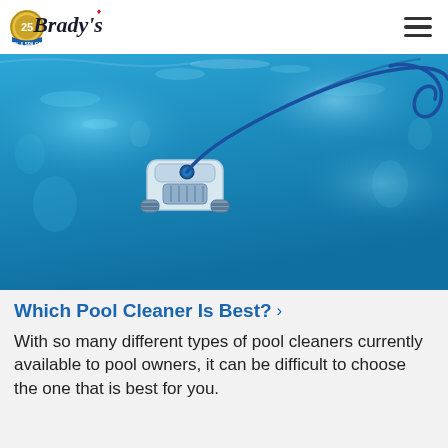Brady's Pool & Spa Care
[Figure (photo): Underwater photo of a robotic pool cleaner with a blue cable/cord, inside a clear blue swimming pool]
Which Pool Cleaner Is Best? >
With so many different types of pool cleaners currently available to pool owners, it can be difficult to choose the one that is best for you.